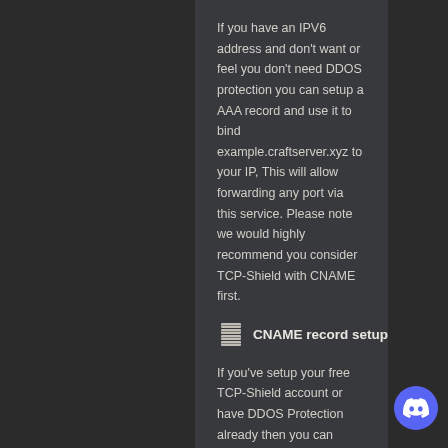If you have an IPV6 address and don't want or feel you don't need DDOS protection you can setup a AAA record and use it to bind example.craftserver.xyz to your IP, This will allow forwarding any port via this service. Please note we would highly recommend you consider TCP-Shield with CNAME first.
CNAME record setup
If you've setup your free TCP-Shield account or have DDOS Protection already then you can setup a CNAME